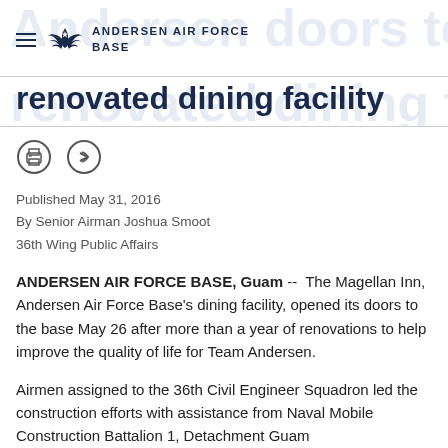ANDERSEN AIR FORCE BASE
Andersen doors to renovated dining facility
Published May 31, 2016
By Senior Airman Joshua Smoot
36th Wing Public Affairs
ANDERSEN AIR FORCE BASE, Guam --  The Magellan Inn, Andersen Air Force Base's dining facility, opened its doors to the base May 26 after more than a year of renovations to help improve the quality of life for Team Andersen.
Airmen assigned to the 36th Civil Engineer Squadron led the construction efforts with assistance from Naval Mobile Construction Battalion 1, Detachment Guam